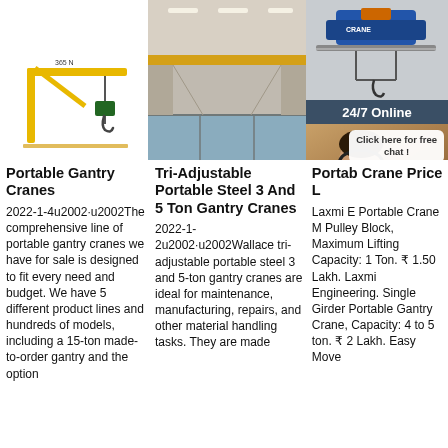[Figure (photo): Yellow portable gantry crane with hook on white background]
[Figure (photo): Interior of industrial building with overhead yellow crane beams]
[Figure (photo): Industrial crane equipment with 24/7 Online chat overlay and customer service representative]
Portable Gantry Cranes
2022-1-4u2002·u2002The comprehensive line of portable gantry cranes we have for sale is designed to fit every need and budget. We have 5 different product lines and hundreds of models, including a 15-ton made-to-order gantry and the option
Tri-Adjustable Portable Steel 3 And 5 Ton Gantry Cranes
2022-1-2u2002·u2002Wallace tri-adjustable portable steel 3 and 5-ton gantry cranes are ideal for maintenance, manufacturing, repairs, and other material handling tasks. They are made
Portable Cranes Price L
Laxmi E Portable Crane M Pulley Block, Maximum Lifting Capacity: 1 Ton. ₹ 1.50 Lakh. Laxmi Engineering. Single Girder Portable Gantry Crane, Capacity: 4 to 5 ton. ₹ 2 Lakh. Easy Move